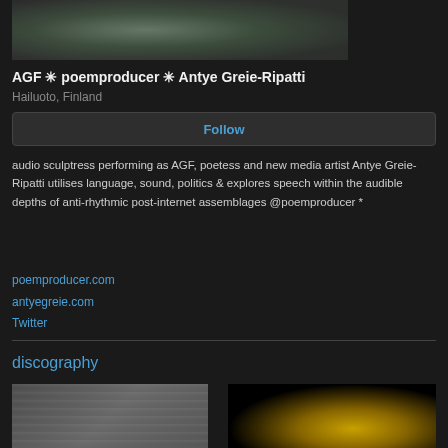[Figure (photo): Hero photo of AGF / Antye Greie-Ripatti, showing a person in patterned clothing against a textured background]
AGF ✳ poemproducer ✳ Antye Greie-Ripatti
Hailuoto, Finland
Follow
audio sculptress performing as AGF, poetess and new media artist Antye Greie-Ripatti utilises language, sound, politics & explores speech within the audible depths of anti-rhythmic post-internet assemblages @poemproducer *
poemproducer.com
antyegreie.com
Twitter
discography
[Figure (photo): Album artwork thumbnail - grayscale textured image]
[Figure (photo): Album artwork thumbnail - black background with yellow/gold shape]